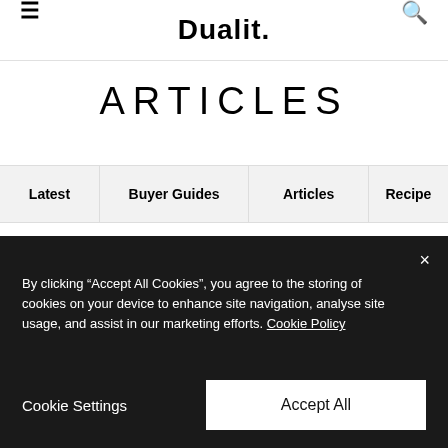Dualit.
ARTICLES
Latest | Buyer Guides | Articles | Recipe
Essential Kitchen Kit
By clicking "Accept All Cookies", you agree to the storing of cookies on your device to enhance site navigation, analyse site usage, and assist in our marketing efforts. Cookie Policy
Cookie Settings   Accept All